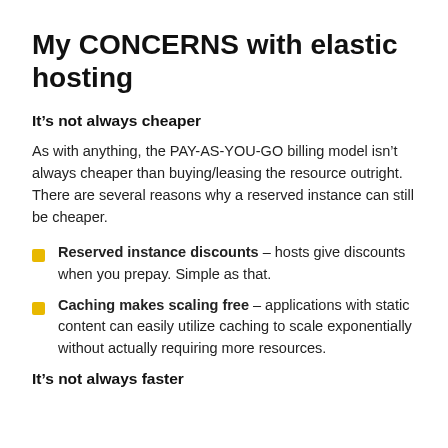My CONCERNS with elastic hosting
It’s not always cheaper
As with anything, the PAY-AS-YOU-GO billing model isn’t always cheaper than buying/leasing the resource outright. There are several reasons why a reserved instance can still be cheaper.
Reserved instance discounts – hosts give discounts when you prepay. Simple as that.
Caching makes scaling free – applications with static content can easily utilize caching to scale exponentially without actually requiring more resources.
It’s not always faster